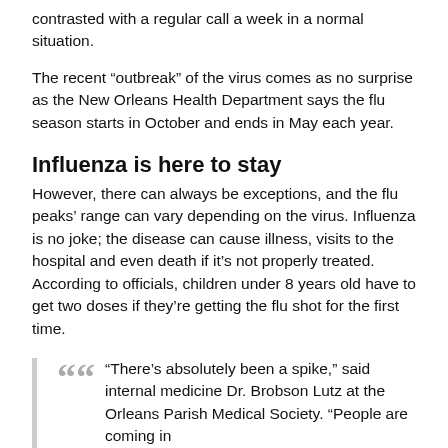contrasted with a regular call a week in a normal situation.
The recent “outbreak” of the virus comes as no surprise as the New Orleans Health Department says the flu season starts in October and ends in May each year.
Influenza is here to stay
However, there can always be exceptions, and the flu peaks’ range can vary depending on the virus. Influenza is no joke; the disease can cause illness, visits to the hospital and even death if it’s not properly treated. According to officials, children under 8 years old have to get two doses if they’re getting the flu shot for the first time.
“There’s absolutely been a spike,” said internal medicine Dr. Brobson Lutz at the Orleans Parish Medical Society. “People are coming in